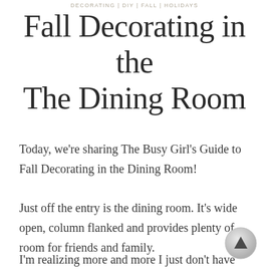DECORATING | DIY | FALL | HOLIDAYS
Fall Decorating in the The Dining Room
Today, we're sharing The Busy Girl's Guide to Fall Decorating in the Dining Room!
Just off the entry is the dining room. It's wide open, column flanked and provides plenty of room for friends and family.
I'm realizing more and more I just don't have